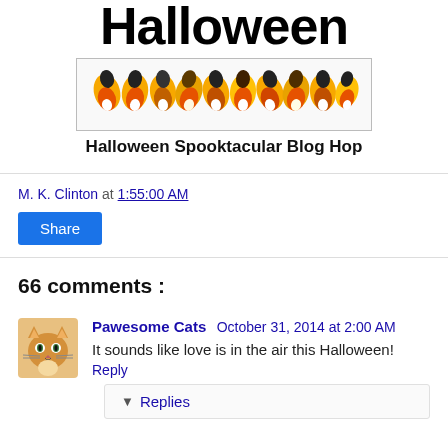Halloween
[Figure (illustration): A row of candy corn pieces in orange, yellow, brown, and white colors inside a bordered box]
Halloween Spooktacular Blog Hop
M. K. Clinton at 1:55:00 AM
Share
66 comments :
Pawesome Cats October 31, 2014 at 2:00 AM
It sounds like love is in the air this Halloween!
Reply
Replies